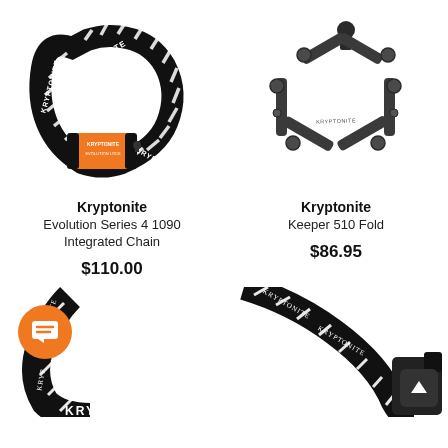[Figure (photo): Kryptonite Evolution Series 4 1090 Integrated Chain bike lock with orange lock head and black/white chain sleeve]
Kryptonite
Evolution Series 4 1090 Integrated Chain
$110.00
[Figure (photo): Kryptonite Keeper 510 Fold folding bike lock in pentagon/hexagon shape, dark grey metal]
Kryptonite
Keeper 510 Fold
$86.95
[Figure (photo): Bottom left: partial view of another Kryptonite chain lock with orange chat bubble icon overlay]
[Figure (photo): Bottom right: partial view of another Kryptonite chain lock with black up-arrow button overlay]